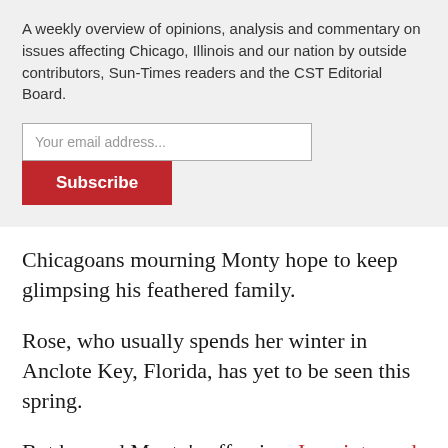A weekly overview of opinions, analysis and commentary on issues affecting Chicago, Illinois and our nation by outside contributors, Sun-Times readers and the CST Editorial Board.
[Figure (screenshot): Email subscription form with text input labeled 'Your email address...' and a red Subscribe button]
Chicagoans mourning Monty hope to keep glimpsing his feathered family.
Rose, who usually spends her winter in Anclote Key, Florida, has yet to be seen this spring.
But her and Monty's offspring, Imani, turned up at